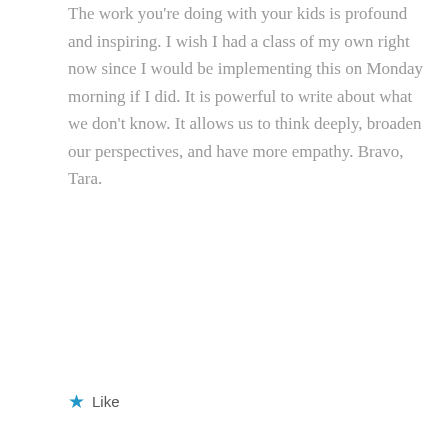The work you're doing with your kids is profound and inspiring. I wish I had a class of my own right now since I would be implementing this on Monday morning if I did. It is powerful to write about what we don't know. It allows us to think deeply, broaden our perspectives, and have more empathy. Bravo, Tara.
★ Like
Ramona
THURSDAY FEBRUARY 4, 2016 AT 10:16 AM
Thanks, Tara, for a post that will be used by many teachers. I love the way you've broadened the